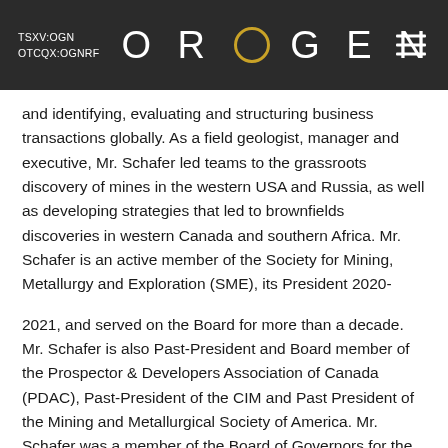TSXV:OGN OTCQX:OGNRF  OROGEN  [hamburger menu]
and identifying, evaluating and structuring business transactions globally. As a field geologist,  manager and executive, Mr. Schafer led teams to the grassroots discovery of mines in the western USA and Russia,  as well as developing strategies that led to brownfields discoveries in western Canada and southern Africa. Mr.  Schafer is an active member of the Society for Mining, Metallurgy and Exploration (SME), its President 2020-
2021, and served on the Board for more than a decade. Mr. Schafer is also Past-President and Board member of  the Prospector & Developers Association of Canada (PDAC), Past-President of the CIM and Past President of the  Mining and Metallurgical Society of America. Mr. Schafer was a member of the Board of Governors for the US  National Mining Hall of Fame and the Board of Directors of the Canadian Mining Hall of Fame. Mr. Schafer is  the first person to hold such leadership